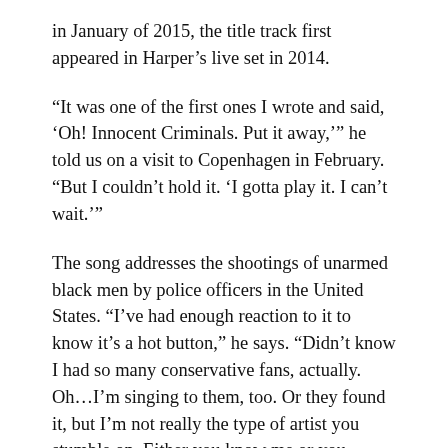in January of 2015, the title track first appeared in Harper's live set in 2014.
“It was one of the first ones I wrote and said, ‘Oh! Innocent Criminals. Put it away,’” he told us on a visit to Copenhagen in February. “But I couldn’t hold it. ‘I gotta play it. I can’t wait.’”
The song addresses the shootings of unarmed black men by police officers in the United States. “I’ve had enough reaction to it to know it’s a hot button,” he says. “Didn’t know I had so many conservative fans, actually. Oh…I’m singing to them, too. Or they found it, but I’m not really the type of artist you stumble on. Either you know me or you don’t.”
If you know Harper, then you know he isn’t